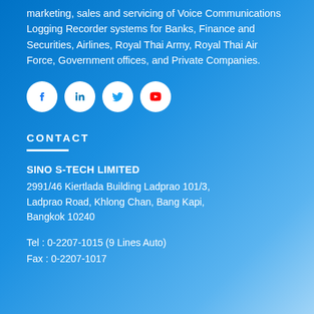marketing, sales and servicing of Voice Communications Logging Recorder systems for Banks, Finance and Securities, Airlines, Royal Thai Army, Royal Thai Air Force, Government offices, and Private Companies.
[Figure (illustration): Four social media icons in white circles: Facebook, LinkedIn, Twitter, YouTube]
CONTACT
SINO S-TECH LIMITED
2991/46 Kiertlada Building Ladprao 101/3, Ladprao Road, Khlong Chan, Bang Kapi, Bangkok 10240
Tel : 0-2207-1015 (9 Lines Auto)
Fax : 0-2207-1017